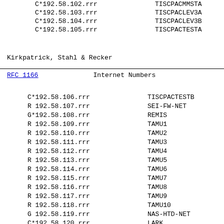| Address | Name |
| --- | --- |
| C*192.58.102.rrr | TISCPACMMSTA |
| C*192.58.103.rrr | TISCPACLEV3A |
| C*192.58.104.rrr | TISCPACLEV3B |
| C*192.58.105.rrr | TISCPACTESTA |
Kirkpatrick, Stahl & Recker
RFC 1166                    Internet Numbers
| Address | Name |
| --- | --- |
| C*192.58.106.rrr | TISCPACTESTB |
| R 192.58.107.rrr | SEI-FW-NET |
| G*192.58.108.rrr | REMIS |
| R 192.58.109.rrr | TAMU1 |
| R 192.58.110.rrr | TAMU2 |
| R 192.58.111.rrr | TAMU3 |
| R 192.58.112.rrr | TAMU4 |
| R 192.58.113.rrr | TAMU5 |
| R 192.58.114.rrr | TAMU6 |
| R 192.58.115.rrr | TAMU7 |
| R 192.58.116.rrr | TAMU8 |
| R 192.58.117.rrr | TAMU9 |
| R 192.58.118.rrr | TAMU10 |
| G 192.58.119.rrr | NAS-HTD-NET |
| C*192.58.120.rrr | LARK |
| C*192.58.121.rrr | VOTEK |
| R*192.58.122... | NOCHARS |